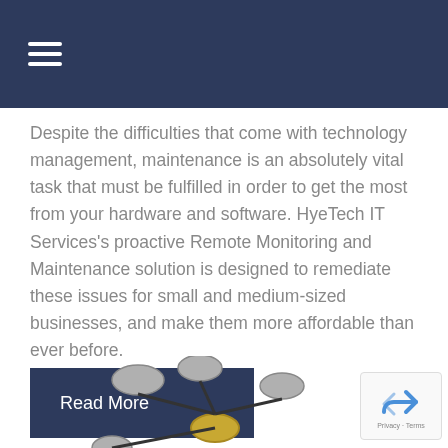Despite the difficulties that come with technology management, maintenance is an absolutely vital task that must be fulfilled in order to get the most from your hardware and software. HyeTech IT Services's proactive Remote Monitoring and Maintenance solution is designed to remediate these issues for small and medium-sized businesses, and make them more affordable than ever before.
Read More
[Figure (network-graph): A network diagram showing gray circular nodes connected by dark lines to a central gold/yellow node, with additional gray nodes visible at the bottom edges.]